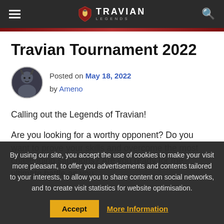TRAVIAN LEGENDS
Travian Tournament 2022
Posted on May 18, 2022 by Ameno
Calling out the Legends of Travian!
Are you looking for a worthy opponent? Do you want to prove your skills and overcome the most challenging situations? Are you ready for the ultimate battle as you
By using our site, you accept the use of cookies to make your visit more pleasant, to offer you advertisements and contents tailored to your interests, to allow you to share content on social networks, and to create visit statistics for website optimisation.